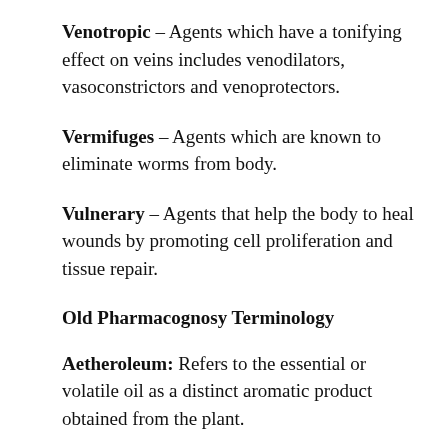Venotropic – Agents which have a tonifying effect on veins includes venodilators, vasoconstrictors and venoprotectors.
Vermifuges – Agents which are known to eliminate worms from body.
Vulnerary – Agents that help the body to heal wounds by promoting cell proliferation and tissue repair.
Old Pharmacognosy Terminology
Aetheroleum: Refers to the essential or volatile oil as a distinct aromatic product obtained from the plant.